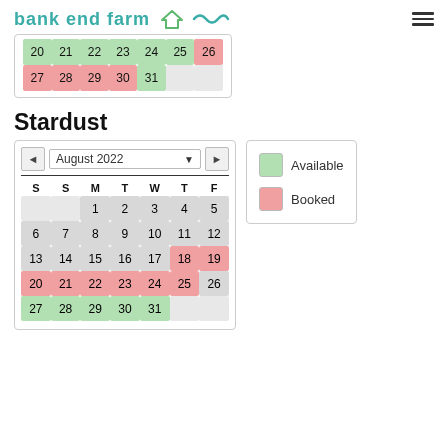Bank End Farm
[Figure (other): Partial calendar showing month with dates 20-31, some pink (booked), some green (available), some gray (empty)]
Stardust
[Figure (other): August 2022 calendar with navigation arrows and month dropdown. Days 1-5 gray, 6-12 gray, 13-17 gray, 18-19 pink, 20-25 pink, 26 gray, 27-31 green, remaining empty gray.]
[Figure (infographic): Legend box with green swatch labeled Available and pink swatch labeled Booked]